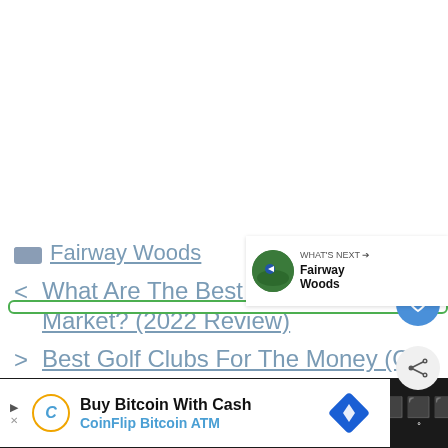📁 Fairway Woods
< What Are The Best Golf Nets On The Market? (2022 Review)
> Best Golf Clubs For The Money (Our 2022 Picks)
[Figure (other): WHAT'S NEXT arrow to Fairway Woods with golf course thumbnail]
[Figure (other): Advertisement bar: Buy Bitcoin With Cash - CoinFlip Bitcoin ATM]